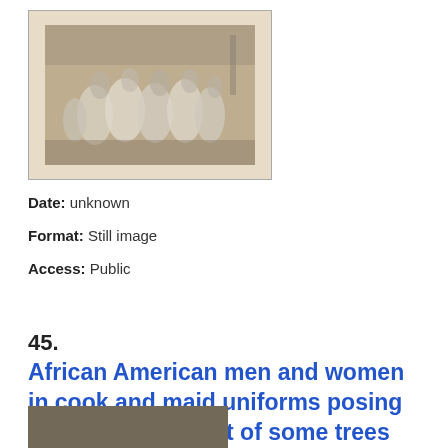[Figure (photo): Black and white historical photograph showing a group of people gathered, appearing to be at an outdoor event or gathering, with figures in light-colored clothing]
Date: unknown
Format: Still image
Access: Public
45.
African American men and women in cook and maid uniforms posing with chairs in front of some trees
[Figure (photo): Bottom of page showing partial view of another historical photograph with brown/sepia tones]